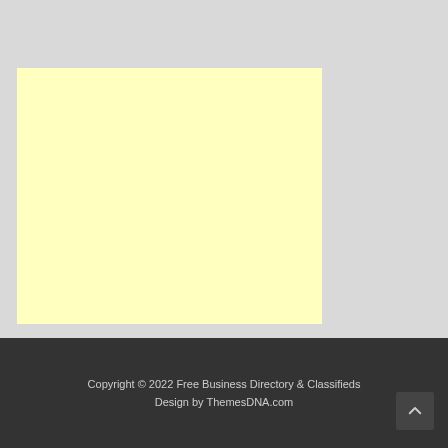[Figure (other): Large light yellow rectangular box on grey background, representing an advertisement or placeholder content area]
Copyright © 2022 Free Business Directory & Classifieds
Design by ThemesDNA.com